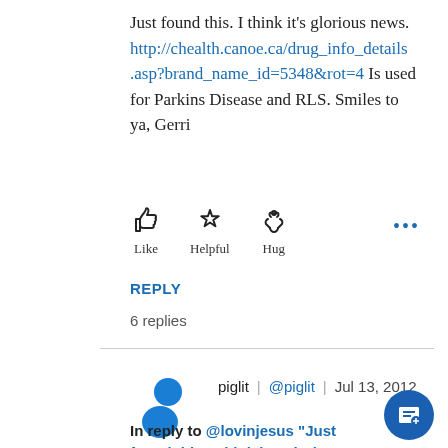Just found this. I think it's glorious news. http://chealth.canoe.ca/drug_info_details.asp?brand_name_id=5348&rot=4 Is used for Parkins Disease and RLS. Smiles to ya, Gerri
[Figure (infographic): Reaction buttons: thumbs-up Like, star Helpful, heart-hands Hug, and more (ellipsis)]
REPLY
6 replies
piglit | @piglit | Jul 13, 2012
In reply to @lovinjesus "Just found this. I think it's glorious news. http://chealth.canoe.ca/drug_info_details.asp?